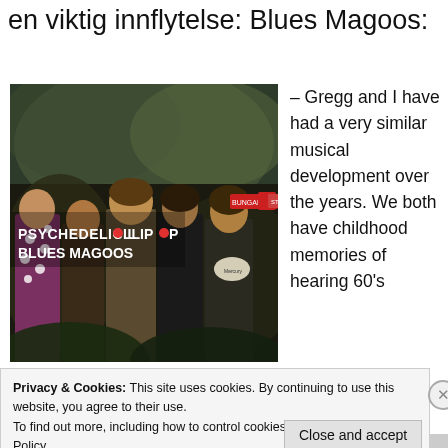en viktig innflytelse: Blues Magoos:
[Figure (photo): Album cover of 'Psychedelic Lollipop' by Blues Magoos showing five band members against a psychedelic background]
– Gregg and I have had a very similar musical development over the years. We both have childhood memories of hearing 60's
Privacy & Cookies: This site uses cookies. By continuing to use this website, you agree to their use.
To find out more, including how to control cookies, see here: Cookie Policy
Close and accept